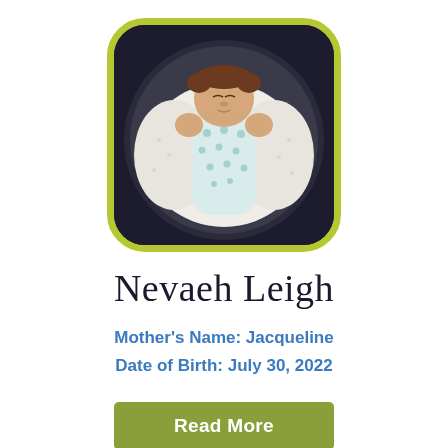[Figure (photo): Newborn baby wrapped in white and light blue dotted swaddle blanket, lying in a rounded car seat or infant carrier with dark background. Photo displayed in a rounded square frame with yellow-green border.]
Nevaeh Leigh
Mother's Name: Jacqueline
Date of Birth: July 30, 2022
Read More